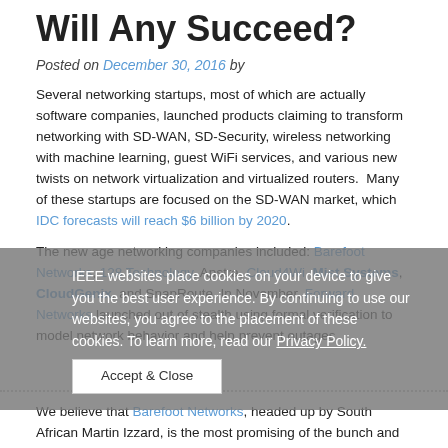Will Any Succeed?
Posted on December 30, 2016 by
Several networking startups, most of which are actually software companies, launched products claiming to transform networking with SD-WAN, SD-Security, wireless networking with machine learning, guest WiFi services, and various new twists on network virtualization and virtualized routers.  Many of these startups are focused on the SD-WAN market, which IDC forecasts will reach $6 billion by 2020.
The new age networking companies included: Barefoot Networks, 128 Technology, Apstra, Cloud4Wi, Mist Systems, CloudGenix, and SnapRoute. In November, Forward Networks launched out of stealth using formal verification to model network behavior and help prevent outages.
IEEE websites place cookies on your device to give you the best user experience. By continuing to use our websites, you agree to the placement of these cookies. To learn more, read our Privacy Policy.
Accept & Close
We believe that Barefoot Networks, headed up by South African Martin Izzard, is the most promising of the bunch and very well funded.  The company announced it's programmable switch platform in June – touting it as the world's fastest and most